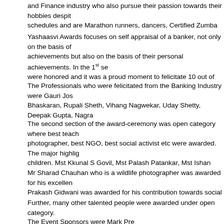and Finance industry who also pursue their passion towards their hobbies despit schedules and are Marathon runners, dancers, Certified Zumba trainers and Arti
Yashaasvi Awards focuses on self appraisal of a banker, not only on the basis of achievements but also on the basis of their personal achievements. In the 1st se were honored and it was a proud moment to felicitate 10 out of the box personali Insurance and Finance Sector.
The Professionals who were felicitated from the Banking Industry were Gauri Jos Bhaskaran, Rupali Sheth, Vihang Nagwekar, Uday Shetty, Deepak Gupta, Nagra and Mr Yogesh Patil.
The second section of the award-ceremony was open category where best teach photographer, best NGO, best social activist etc were awarded. The major highlig children. Mst Kkunal S Govil, Mst Palash Patankar, Mst Ishan Satra, Ms Avantika Gupta and Devi Guha were awarded for their achievements at various different fi
Mr Sharad Chauhan who is a wildlife photographer was awarded for his excellen Prakash Gidwani was awarded for his contribution towards social activities.
Further, many other talented people were awarded under open category.
The Event Sponsors were Mark Pre School,Kandivalieast,Mumbai, Label Heena EFG filing Guru, Auromira Care Foundation, ITW Creative Studio.
The Corporate Gifting Partners were Maali By Kkunal S Govil, Masklife, Hopfit w Shadab Ahmed, Sweetsattire, Image and Lifestyle Studio by Krutisharma, Aarog Growth by Palash and Cuddly Tales.